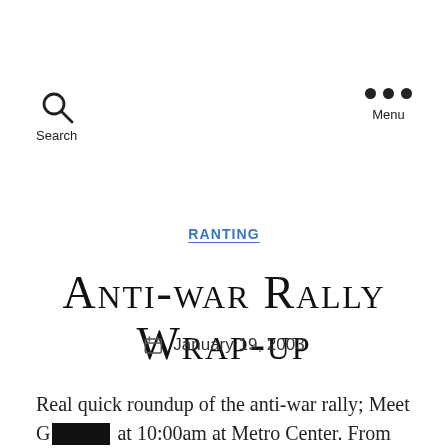Search  Menu
RANTING
Anti-war Rally Wrap-up
January 19, 2003
Real quick roundup of the anti-war rally; Meet G[REDACTED] at 10:00am at Metro Center. From there we grabbed